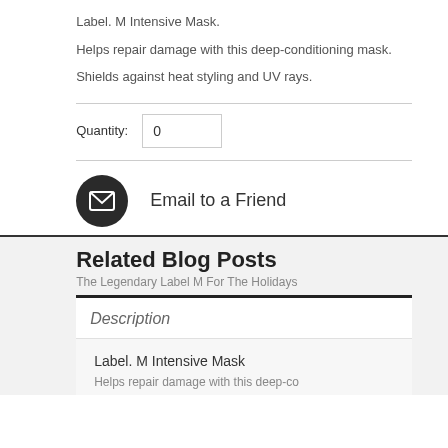Label. M Intensive Mask.
Helps repair damage with this deep-conditioning mask.
Shields against heat styling and UV rays.
Quantity: 0
Email to a Friend
Related Blog Posts
The Legendary Label M For The Holidays
Description
Label. M Intensive Mask
Helps repair damage with this deep-conditioning mask.